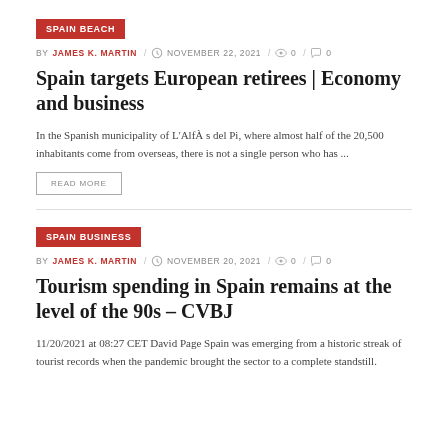SPAIN BEACH
BY JAMES K. MARTIN / NOVEMBER 22, 2021 / 0 / 0
Spain targets European retirees | Economy and business
In the Spanish municipality of L'AlfÀ s del Pi, where almost half of the 20,500 inhabitants come from overseas, there is not a single person who has ...
READ MORE
SPAIN BUSINESS
BY JAMES K. MARTIN / NOVEMBER 20, 2021 / 0 / 0
Tourism spending in Spain remains at the level of the 90s – CVBJ
11/20/2021 at 08:27 CET David Page Spain was emerging from a historic streak of tourist records when the pandemic brought the sector to a complete standstill.